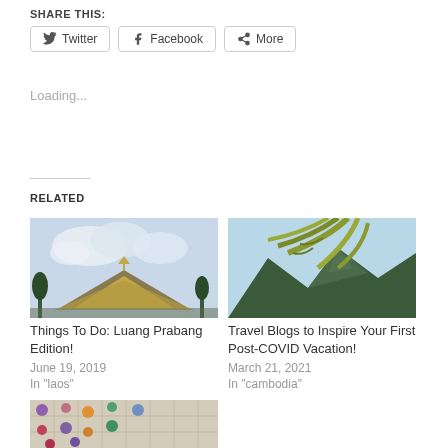SHARE THIS:
Twitter  Facebook  More
Loading...
RELATED
[Figure (photo): Temple roof with cloudy sky and palm trees – Luang Prabang]
Things To Do: Luang Prabang Edition!
June 19, 2019
In "laos"
[Figure (photo): Palm tree fronds with mountains in background – Cambodia travel]
Travel Blogs to Inspire Your First Post-COVID Vacation!
March 21, 2021
In "cambodia"
[Figure (photo): Colorful figurines on a tiled surface – board game or market scene]